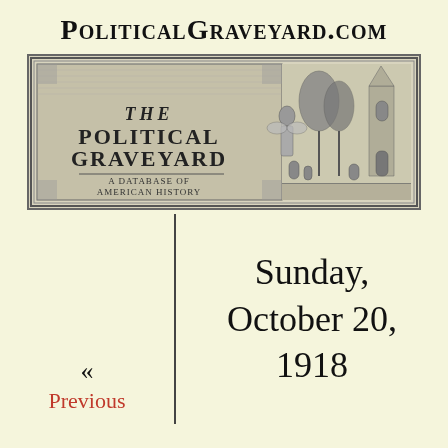PoliticalGraveyard.com
[Figure (illustration): The Political Graveyard banner image — a graveyard scene with gothic architecture, trees, tombstones, and an angel figure. Text reads 'THE POLITICAL GRAVEYARD – A Database of American History'.]
Sunday, October 20, 1918
« Previous